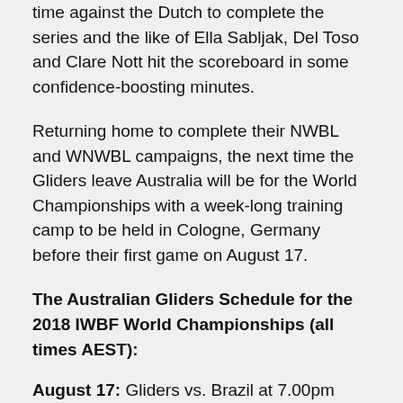time against the Dutch to complete the series and the like of Ella Sabljak, Del Toso and Clare Nott hit the scoreboard in some confidence-boosting minutes.
Returning home to complete their NWBL and WNWBL campaigns, the next time the Gliders leave Australia will be for the World Championships with a week-long training camp to be held in Cologne, Germany before their first game on August 17.
The Australian Gliders Schedule for the 2018 IWBF World Championships (all times AEST):
August 17: Gliders vs. Brazil at 7.00pm
August 19: Gliders vs. Netherlands at 5.15am
August 20: Gliders vs. Canada at 2.30am
August 21: Gliders vs. Great Britain at 5.15am
August 22: Gliders vs. Spain at 9.15pm